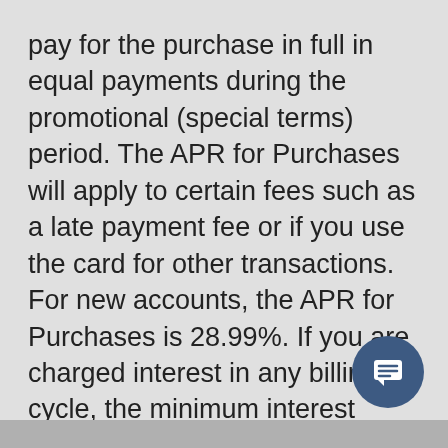pay for the purchase in full in equal payments during the promotional (special terms) period. The APR for Purchases will apply to certain fees such as a late payment fee or if you use the card for other transactions. For new accounts, the APR for Purchases is 28.99%. If you are charged interest in any billing cycle, the minimum interest charge will be $1.00. This information is accurate as of 10/06/2020 and is subject to change. For current information, call us at 1-800-431-5921. Offer good May 16–30, 2022.
[Figure (other): Chat button icon — circular dark blue button with a message/chat icon in white]